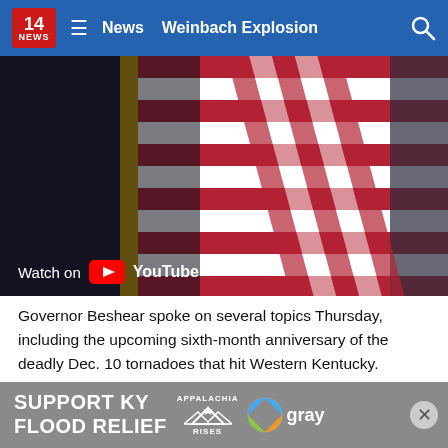14 NEWS  ≡  News  Weinbach Explosion  🔍
[Figure (screenshot): YouTube video thumbnail showing American flags with a dark background and a 'Watch on YouTube' overlay at the bottom left.]
Governor Beshear spoke on several topics Thursday, including the upcoming sixth-month anniversary of the deadly Dec. 10 tornadoes that hit Western Kentucky.
Beshear will mark that anniversary on Friday in Mayfield.
[Figure (infographic): Advertisement banner: SUPPORT KY FLOOD RELIEF with Appalachia Rises mountain logo and gray television logo.]